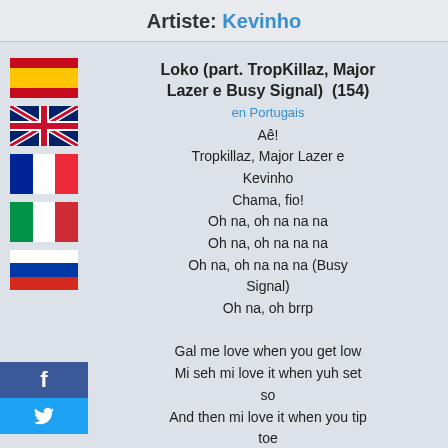Artiste: Kevinho
Loko (part. TropKillaz, Major Lazer e Busy Signal)  (154)
en Portugais
Aê!
Tropkillaz, Major Lazer e Kevinho
Chama, fio!
Oh na, oh na na na
Oh na, oh na na na
Oh na, oh na na na (Busy Signal)
Oh na, oh brrp

Gal me love when you get low
Mi seh mi love it when yuh set so
And then mi love it when you tip toe
Bubble Up, yuh make the Earth shake
Whenever you earthquake

Olha que cara de terrível
Bem do jeitinho que eu gosto
Ela sabe que eu não posso